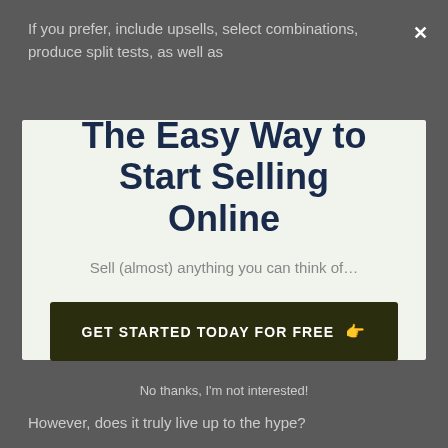If you prefer, include upsells, select combinations, produce split tests, as well as
The Easy Way to Start Selling Online
Sell (almost) anything you can think of…
GET STARTED TODAY FOR FREE 👉
No thanks, I'm not interested!
However, does it truly live up to the hype?